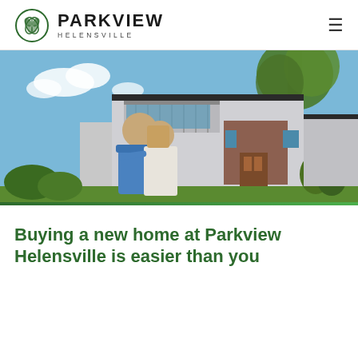PARKVIEW HELENSVILLE
[Figure (photo): A couple seen from behind with their arms around each other looking at a modern two-storey house with brick facade, balcony, and large windows on a sunny day with trees in the background.]
Buying a new home at Parkview Helensville is easier than you